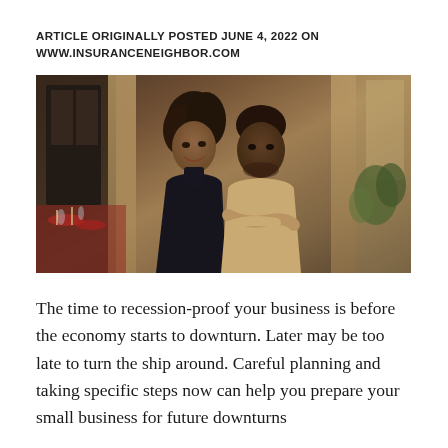ARTICLE ORIGINALLY POSTED JUNE 4, 2022 ON WWW.INSURANCENEIGHBOR.COM
[Figure (photo): A smiling Black couple, a woman in a dark turtleneck and a man in a beige sweater with arms crossed, posing in a restaurant setting with red-set tables and plants in the background.]
The time to recession-proof your business is before the economy starts to downturn. Later may be too late to turn the ship around. Careful planning and taking specific steps now can help you prepare your small business for future downturns